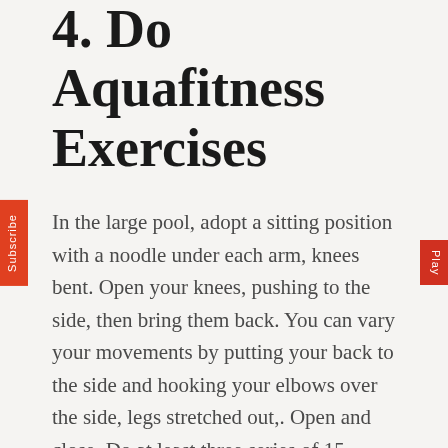4. Do Aquafitness Exercises
In the large pool, adopt a sitting position with a noodle under each arm, knees bent. Open your knees, pushing to the side, then bring them back. You can vary your movements by putting your back to the side and hooking your elbows over the side, legs stretched out,. Open and close. Do at least three series of 15 movements during the session.
Another solution for firm buttocks: walk in the water, against the tide if the pool has this feature. Jump up and down in the water, pulling your knees towards your chest. Alternate walking and